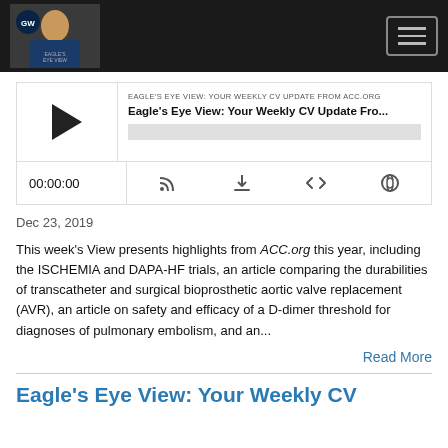[Figure (screenshot): Top navigation bar with podcast logo photo on left and hamburger menu icon on right, dark background]
[Figure (screenshot): Podcast player widget with play button, episode title 'Eagle's Eye View: Your Weekly CV Update Fro...', progress bar, time 00:00:00, and media control icons (RSS, download, embed, share)]
Dec 23, 2019
This week's View presents highlights from ACC.org this year, including the ISCHEMIA and DAPA-HF trials, an article comparing the durabilities of transcatheter and surgical bioprosthetic aortic valve replacement (AVR), an article on safety and efficacy of a D-dimer threshold for diagnoses of pulmonary embolism, and an...
Read More
Eagle's Eye View: Your Weekly CV